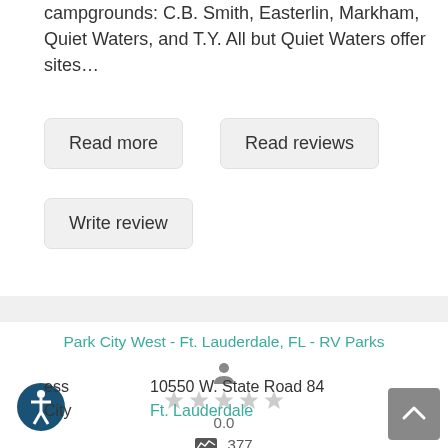campgrounds: C.B. Smith, Easterlin, Markham, Quiet Waters, and T.Y. All but Quiet Waters offer sites…
Read more
Read reviews
Write review
Park City West - Ft. Lauderdale, FL - RV Parks
0.0
377
Distance   11.66 Miles
Address   10550 W. State Road 84
City   Ft. Lauderdale